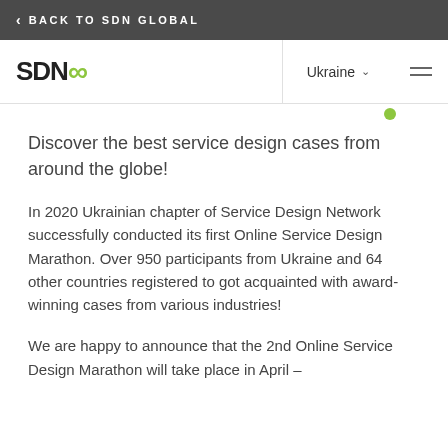< BACK TO SDN GLOBAL
[Figure (logo): SDN infinity logo with Ukraine dropdown and hamburger menu]
Discover the best service design cases from around the globe!
In 2020 Ukrainian chapter of Service Design Network successfully conducted its first Online Service Design Marathon. Over 950 participants from Ukraine and 64 other countries registered to got acquainted with award-winning cases from various industries!
We are happy to announce that the 2nd Online Service Design Marathon will take place in April –